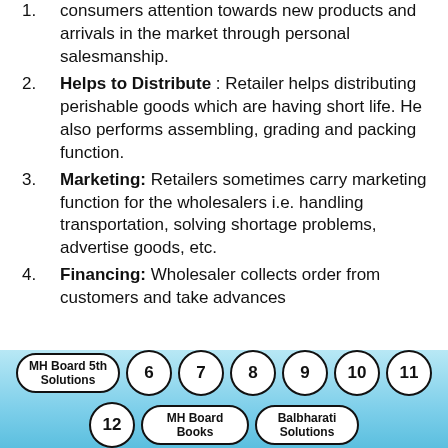Create demand: Retailers attracts consumers attention towards new products and arrivals in the market through personal salesmanship.
Helps to Distribute : Retailer helps distributing perishable goods which are having short life. He also performs assembling, grading and packing function.
Marketing: Retailers sometimes carry marketing function for the wholesalers i.e. handling transportation, solving shortage problems, advertise goods, etc.
Financing: Wholesaler collects order from customers and take advances
MH Board 5th Solutions  6  7  8  9  10  11  12  MH Board Books  Balbharati Solutions